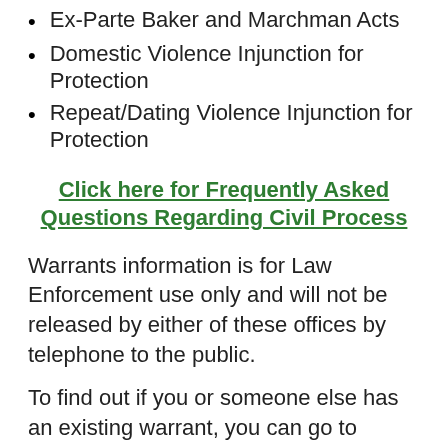Ex-Parte Baker and Marchman Acts
Domestic Violence Injunction for Protection
Repeat/Dating Violence Injunction for Protection
Click here for Frequently Asked Questions Regarding Civil Process
Warrants information is for Law Enforcement use only and will not be released by either of these offices by telephone to the public.
To find out if you or someone else has an existing warrant, you can go to Wanted Persons Search provided by the FDLE